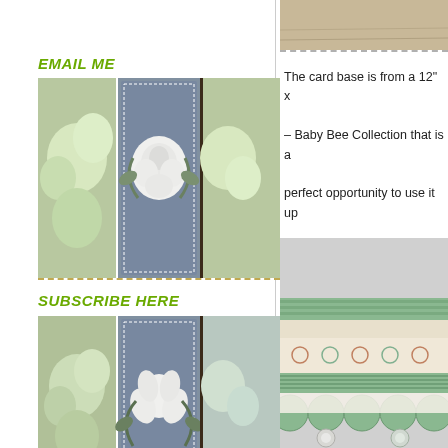EMAIL ME
[Figure (photo): Three framed flower paintings on grey background - hydrangeas left, large white rose center, partial right]
SUBSCRIBE HERE
[Figure (photo): Three framed flower paintings on grey background - hydrangeas left, white lotus center, partial right]
[Figure (logo): RSS orange icon with Subscribe in a reader link]
[Figure (screenshot): Follow me on bloglovin button]
FIND ME ON:
The card base is from a 12" x – Baby Bee Collection that is a perfect opportunity to use it up